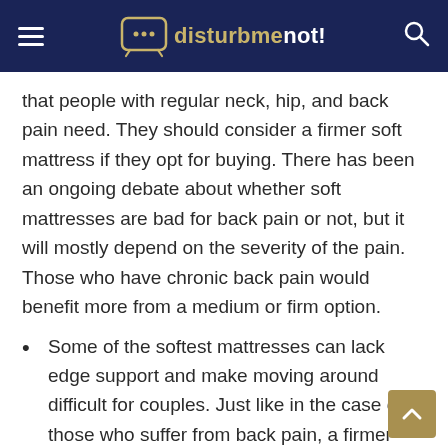disturbmenot!
that people with regular neck, hip, and back pain need. They should consider a firmer soft mattress if they opt for buying. There has been an ongoing debate about whether soft mattresses are bad for back pain or not, but it will mostly depend on the severity of the pain. Those who have chronic back pain would benefit more from a medium or firm option.
Some of the softest mattresses can lack edge support and make moving around difficult for couples. Just like in the case of those who suffer from back pain, a firmer option might be more suitable.
Large and tall sleepers should also avoid a super soft mattress because they might end up feeling